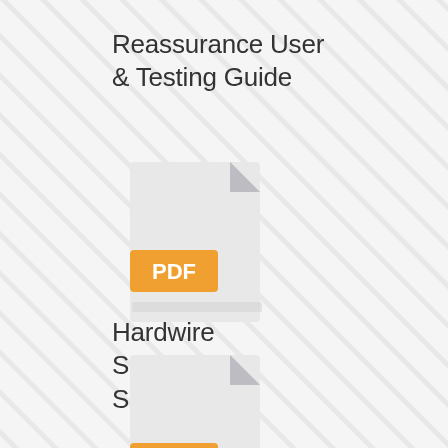Reassurance User & Testing Guide
[Figure (illustration): PDF document icon with orange PDF badge label]
Hardwire Specification Sheet
[Figure (illustration): PDF document icon with orange PDF badge label (partially visible)]